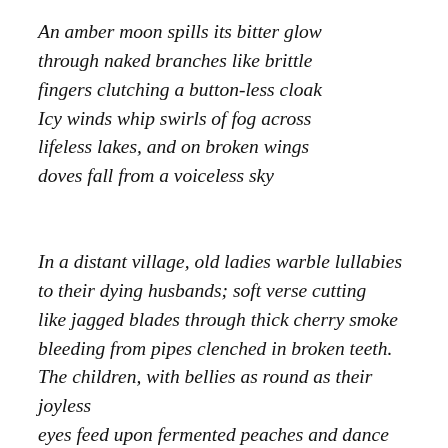An amber moon spills its bitter glow through naked branches like brittle fingers clutching a button-less cloak Icy winds whip swirls of fog across lifeless lakes, and on broken wings doves fall from a voiceless sky
In a distant village, old ladies warble lullabies to their dying husbands; soft verse cutting like jagged blades through thick cherry smoke bleeding from pipes clenched in broken teeth. The children, with bellies as round as their joyless eyes feed upon fermented peaches and dance on knitted bones, playing hide but please, don't seek